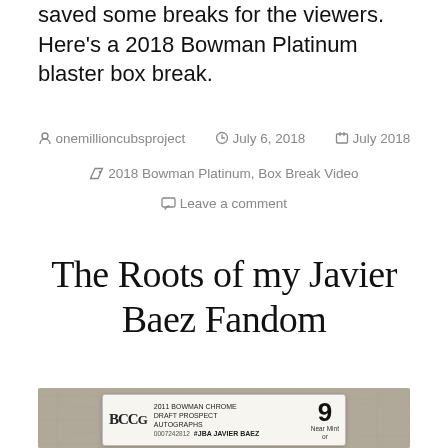saved some breaks for the viewers. Here's a 2018 Bowman Platinum blaster box break.
By onemillioncubsproject   July 6, 2018   July 2018   2018 Bowman Platinum, Box Break Video   Leave a comment
The Roots of my Javier Baez Fandom
[Figure (photo): Photo of a graded baseball card (BCCG grade 9, Near Mint) on a carpet background. The card is labeled: 2011 BOWMAN CHROME DRAFT PROSPECT AUTOGRAPHS #JBA JAVIER BAEZ, serial number 0007242812.]